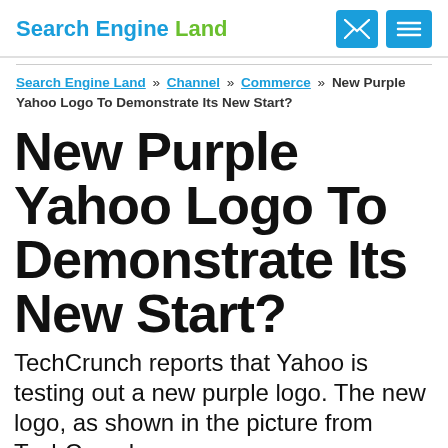Search Engine Land
Search Engine Land » Channel » Commerce » New Purple Yahoo Logo To Demonstrate Its New Start?
New Purple Yahoo Logo To Demonstrate Its New Start?
TechCrunch reports that Yahoo is testing out a new purple logo. The new logo, as shown in the picture from TechCrunch